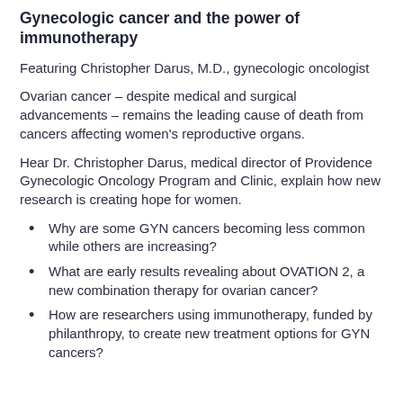Gynecologic cancer and the power of immunotherapy
Featuring Christopher Darus, M.D., gynecologic oncologist
Ovarian cancer – despite medical and surgical advancements – remains the leading cause of death from cancers affecting women's reproductive organs.
Hear Dr. Christopher Darus, medical director of Providence Gynecologic Oncology Program and Clinic, explain how new research is creating hope for women.
Why are some GYN cancers becoming less common while others are increasing?
What are early results revealing about OVATION 2, a new combination therapy for ovarian cancer?
How are researchers using immunotherapy, funded by philanthropy, to create new treatment options for GYN cancers?